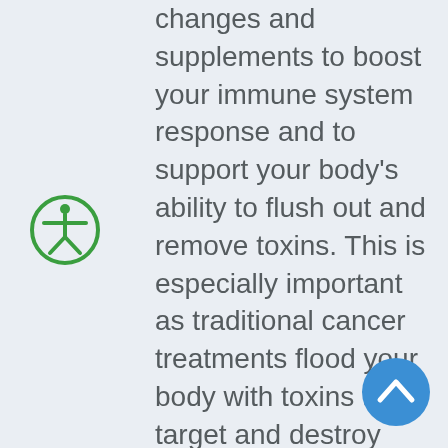changes and supplements to boost your immune system response and to support your body's ability to flush out and remove toxins. This is especially important as traditional cancer treatments flood your body with toxins to target and destroy your cancer.  He has found that an important part of supporting and preventing recurrence is diagnosing and treating as many causative factors as possible.  This will include making dietary changes to improve any
[Figure (illustration): Green circle accessibility icon (person with arms outstretched)]
[Figure (illustration): Blue circle scroll-up button with upward chevron arrow]